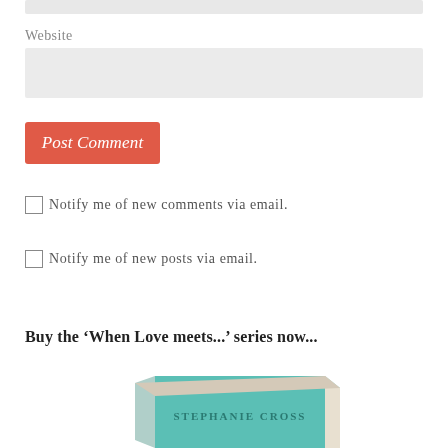Website
Post Comment
Notify me of new comments via email.
Notify me of new posts via email.
Buy the ‘When Love meets...’ series now...
[Figure (photo): Book with teal/mint cover spine showing 'STEPHANIE CROSS' text, angled perspective view]